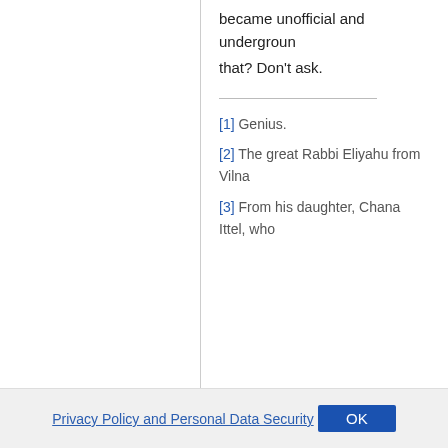became unofficial and underground that? Don't ask.
[1] Genius.
[2] The great Rabbi Eliyahu from Vilna
[3] From his daughter, Chana Ittel, who
Privacy Policy and Personal Data Security  OK